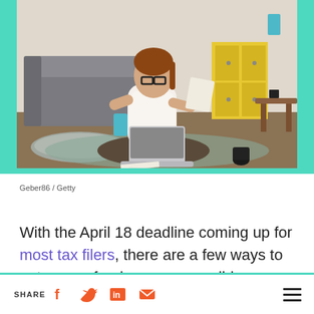[Figure (photo): Woman sitting cross-legged on floor, wearing white t-shirt and glasses, holding papers and looking at laptop, with sofa and yellow cabinet in background]
Geber86 / Getty
With the April 18 deadline coming up for most tax filers, there are a few ways to get your refund as soon possible, including filing electronically and avoiding errors in your return,
SHARE [facebook] [twitter] [linkedin] [email] [menu]